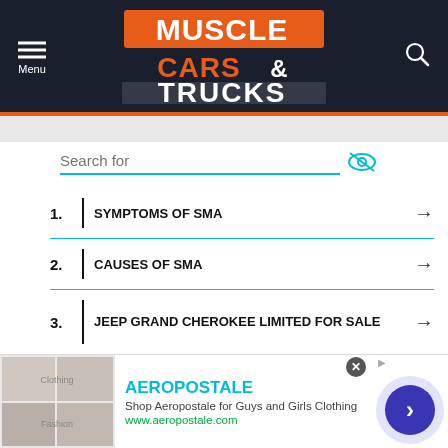[Figure (logo): Muscle Cars & Trucks website logo on dark navy background with hamburger menu and search icon]
1. SYMPTOMS OF SMA
2. CAUSES OF SMA
3. JEEP GRAND CHEROKEE LIMITED FOR SALE
4. USED JEEP GRAND CHEROKEE ONLINE
[Figure (screenshot): Aeropostale advertisement banner at bottom of page with store images and link to aeropostale.com]